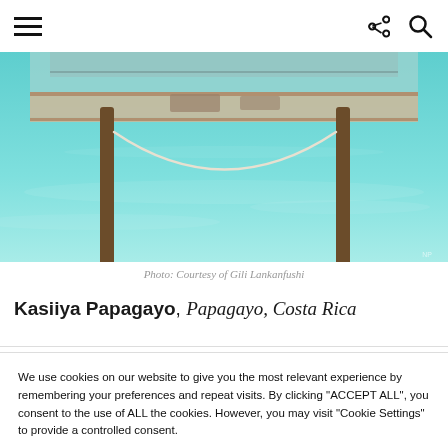Navigation header with hamburger menu, share icon, and search icon
[Figure (photo): Aerial or eye-level view of a turquoise tropical lagoon with a hammock suspended between two wooden posts over the water, with an overwater bungalow structure visible in the background.]
Photo: Courtesy of Gili Lankanfushi
Kasiiya Papagayo, Papagayo, Costa Rica
We use cookies on our website to give you the most relevant experience by remembering your preferences and repeat visits. By clicking "ACCEPT ALL", you consent to the use of ALL the cookies. However, you may visit "Cookie Settings" to provide a controlled consent.